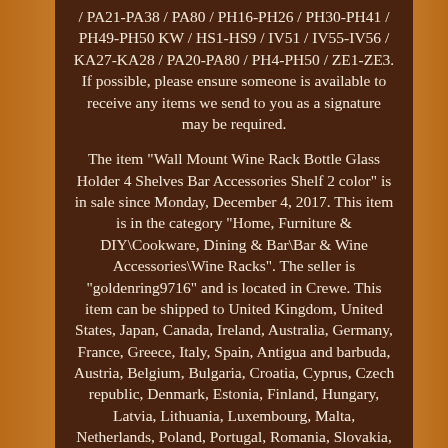/ PA21-PA38 / PA80 / PH16-PH26 / PH30-PH41 / PH49-PH50 KW / HS1-HS9 / IV51 / IV55-IV56 / KA27-KA28 / PA20-PA80 / PH4-PH50 / ZE1-ZE3. If possible, please ensure someone is available to receive any items we send to you as a signature may be required.
The item "Wall Mount Wine Rack Bottle Glass Holder 4 Shelves Bar Accessories Shelf 2 color" is in sale since Monday, December 4, 2017. This item is in the category "Home, Furniture & DIY\Cookware, Dining & Bar\Bar & Wine Accessories\Wine Racks". The seller is "goldenring9716" and is located in Crewe. This item can be shipped to United Kingdom, United States, Japan, Canada, Ireland, Australia, Germany, France, Greece, Italy, Spain, Antigua and barbuda, Austria, Belgium, Bulgaria, Croatia, Cyprus, Czech republic, Denmark, Estonia, Finland, Hungary, Latvia, Lithuania, Luxembourg, Malta, Netherlands, Poland, Portugal, Romania, Slovakia, Slovenia, Sweden, Bahrain, Brazil, New Zealand, China, Israel, Hong Kong, Norway, Indonesia, Malaysia, Singapore, South Korea, Switzerland, Taiwan, Thailand, Bangladesh, Belize, Bermuda, Bolivia, Barbados, Brunei darussalam, Cayman islands, Dominica, Ecuador, Egypt, Guernsey,